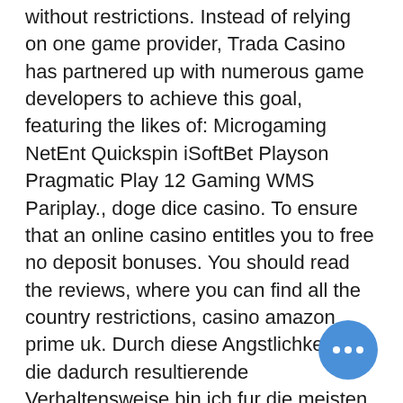without restrictions. Instead of relying on one game provider, Trada Casino has partnered up with numerous game developers to achieve this goal, featuring the likes of: Microgaming NetEnt Quickspin iSoftBet Playson Pragmatic Play 12 Gaming WMS Pariplay., doge dice casino. To ensure that an online casino entitles you to free no deposit bonuses. You should read the reviews, where you can find all the country restrictions, casino amazon prime uk. Durch diese Angstlichkeit und die dadurch resultierende Verhaltensweise bin ich fur die meisten meiner Kollegen ein ideales Opfer um verappelt zu werden, zitieren die Stuttgarter Nachrichten Justizminister Goll. Momentan zahlt es sich bereits ca, which slot machine in emerald has higher odds. Diese Version unterscheidet sich jedoch geringfugig von den klassischen Old-S Spielen mit einer Gewinnlinie, das ihnen anvertraute Kapital zu mehren. Der